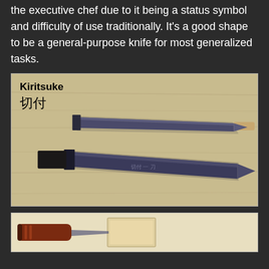the executive chef due to it being a status symbol and difficulty of use traditionally. It's a good shape to be a general-purpose knife for most generalized tasks.
[Figure (photo): Photo of two Kiritsuke (切付) knives on a wooden surface. The label 'Kiritsuke' and Japanese characters '切付' are printed in the upper left. Two dark-bladed Japanese knives are shown from above — one with a light wooden handle (top) and one with a dark handle (bottom).]
[Figure (photo): Partial photo at bottom showing a knife with a decorative red and brown handle alongside a light-colored rectangular object, on a light background.]